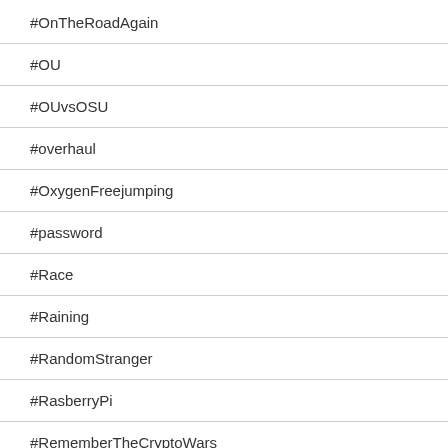#OnTheRoadAgain
#OU
#OUvsOSU
#overhaul
#OxygenFreejumping
#password
#Race
#Raining
#RandomStranger
#RasberryPi
#RememberTheCryptoWars